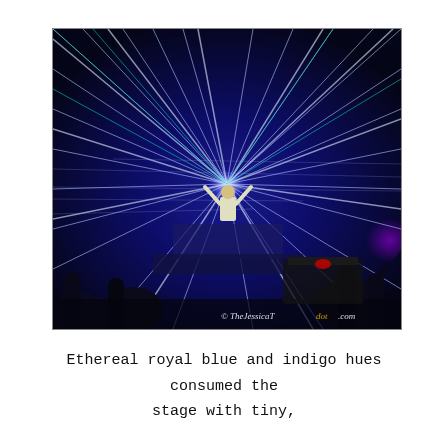[Figure (photo): Concert photo with burst of blue and white laser/spotlight beams radiating from center stage where a performer stands with arms raised. Crowd silhouettes visible in foreground. Purple light on right side. Watermark: © TheJessicaTdot.com in bottom right corner.]
Ethereal royal blue and indigo hues consumed the stage with tiny,